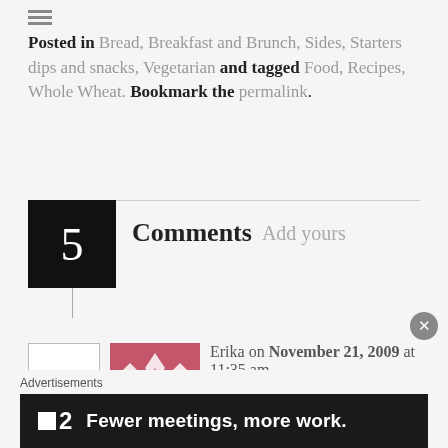Posted in Bread, Breakfast and Brunch, Sides, Starters dips and snacks, Vegetarian and tagged Food, Recipes, Whole Wheat. Bookmark the permalink.
5 Comments  Add yours
Erika on November 21, 2009 at 11:35 am   Reply   ★ Like
I know it's been a while since you posted this recipe, but I just found this
Advertisements
[Figure (other): Advertisement banner: Fewer meetings, more work. with a P2 logo]